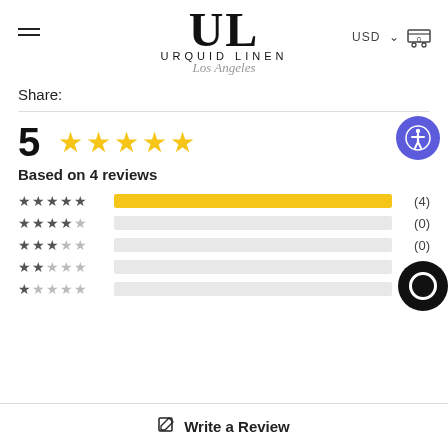URQUID LINEN — Los Angeles
Share:
[Figure (infographic): Star rating summary: score of 5 out of 5 stars, based on 4 reviews. Bar chart showing 5-star: 4, 4-star: 0, 3-star: 0, 2-star: 0, 1-star: 0.]
Write a Review